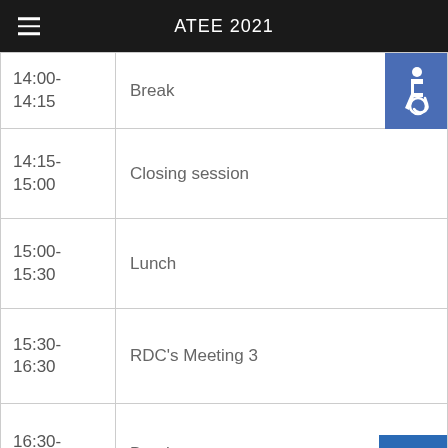ATEE 2021
| Time | Event |
| --- | --- |
| 14:00-14:15 | Break |
| 14:15-15:00 | Closing session |
| 15:00-15:30 | Lunch |
| 15:30-16:30 | RDC's Meeting 3 |
| 16:30-17:00 | Break |
| 17:00-18:30 | Workshop How to publish in the EJTE Prof. Maria Assunção Flores & Dr. Anja Swennen |